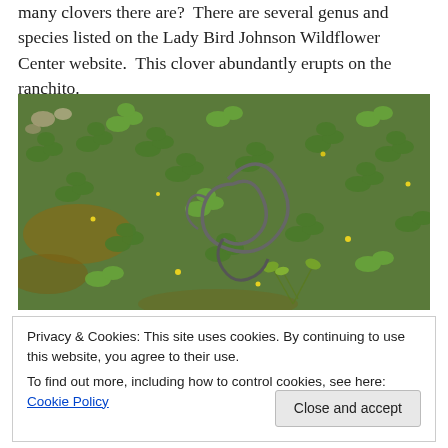many clovers there are?  There are several genus and species listed on the Lady Bird Johnson Wildflower Center website.  This clover abundantly erupts on the ranchito.
[Figure (photo): Close-up photograph of dense clover ground cover with small yellow flowers and a dark metal spiral/spring object in the center.]
Privacy & Cookies: This site uses cookies. By continuing to use this website, you agree to their use.
To find out more, including how to control cookies, see here: Cookie Policy